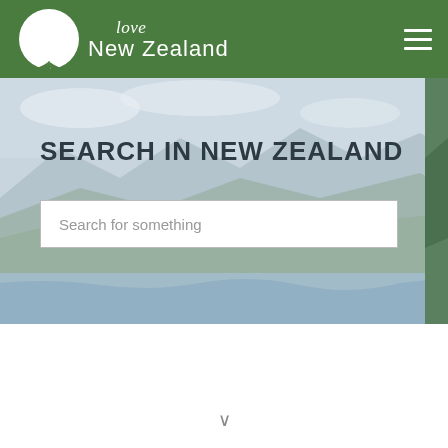[Figure (logo): Love New Zealand Tourism logo with silver fern on green background header bar, with hamburger menu icon on right]
[Figure (photo): New Zealand landscape hero image showing mountains, fields, and lake/river with sky. Overlaid with semi-transparent light blue-grey panel on left and green landscape strip on right.]
SEARCH IN NEW ZEALAND
Search for something
∨